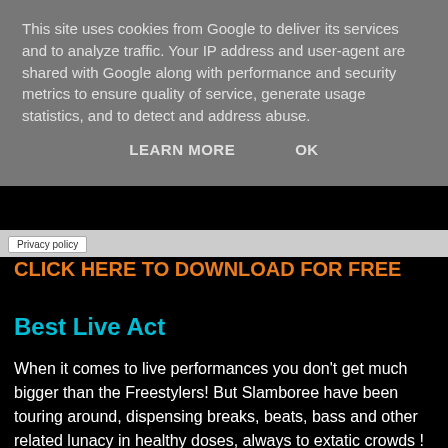This site uses cookies from Google to deliver its services and to analyze traffic. Your IP address and user-agent are shared with Google along with performance and security metrics to ensure quality of service, generate usage statistics, and to detect and address abuse.
LEARN MORE   OK
Privacy policy
CLICK HERE TO DOWNLOAD FOR FREE
Best Live Act
When it comes to live performances you don't get much bigger than the Freestylers! But Slamboree have been touring around, dispensing breaks, beats, bass and other related lunacy in healthy doses, always to extatic crowds ! Any of these 4 would deservedly take the crown . . .
Freestylers